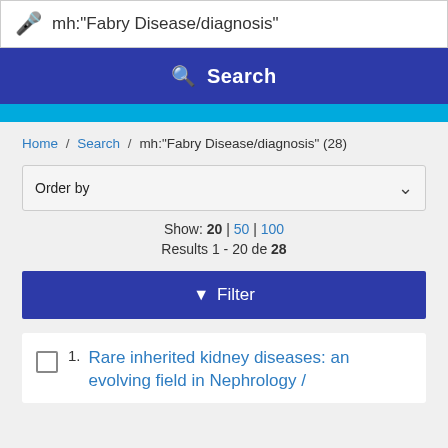[Figure (screenshot): Search interface with microphone icon and query mh:"Fabry Disease/diagnosis"]
[Figure (screenshot): Blue Search button with magnifying glass icon]
Home / Search / mh:"Fabry Disease/diagnosis" (28)
Order by
Show: 20 | 50 | 100
Results 1 - 20 de 28
[Figure (screenshot): Filter button with funnel icon]
1. Rare inherited kidney diseases: an evolving field in Nephrology /